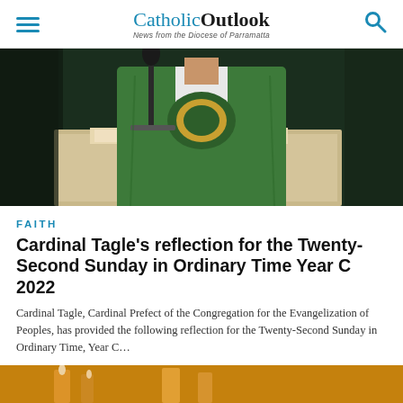CatholicOutlook — News from the Diocese of Parramatta
[Figure (photo): A priest wearing green vestments standing at a lectern/pulpit with a microphone, photographed from chest level, in an indoor church setting.]
FAITH
Cardinal Tagle's reflection for the Twenty-Second Sunday in Ordinary Time Year C 2022
Cardinal Tagle, Cardinal Prefect of the Congregation for the Evangelization of Peoples, has provided the following reflection for the Twenty-Second Sunday in Ordinary Time, Year C...
[Figure (photo): Partial view of a second article image at the bottom of the page, showing a warm golden/orange-toned photograph.]